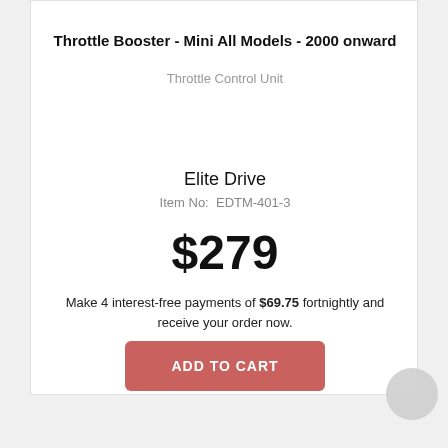Throttle Booster - Mini All Models - 2000 onward
Throttle Control Unit
Elite Drive
Item No:  EDTM-401-3
$279
Make 4 interest-free payments of $69.75 fortnightly and receive your order now.
ADD TO CART